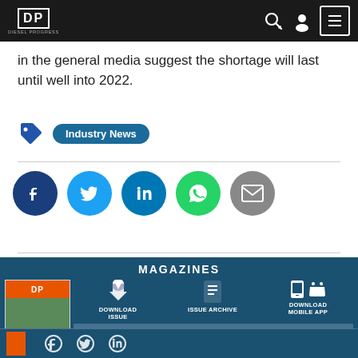Diesel Progress navigation bar
in the general media suggest the shortage will last until well into 2022.
Industry News
[Figure (infographic): Social share buttons: Facebook, Twitter, LinkedIn, WhatsApp, Email]
MAGAZINES
[Figure (infographic): Magazine section with cover image, Download Issue, Issue Archive, Download Mobile App buttons and Never Miss an Issue Subscribe for Free banner]
[Figure (infographic): Bottom strip with small magazine cover and additional icons]